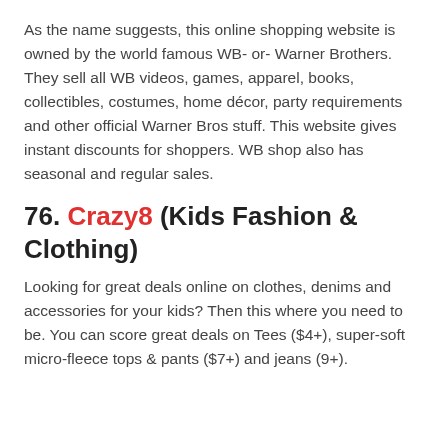As the name suggests, this online shopping website is owned by the world famous WB- or- Warner Brothers. They sell all WB videos, games, apparel, books, collectibles, costumes, home décor, party requirements and other official Warner Bros stuff. This website gives instant discounts for shoppers. WB shop also has seasonal and regular sales.
76. Crazy8 (Kids Fashion & Clothing)
Looking for great deals online on clothes, denims and accessories for your kids? Then this where you need to be. You can score great deals on Tees ($4+), super-soft micro-fleece tops & pants ($7+) and jeans (9+).